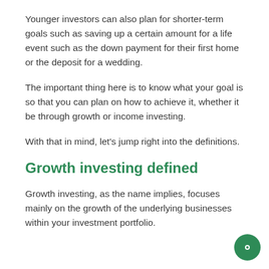Younger investors can also plan for shorter-term goals such as saving up a certain amount for a life event such as the down payment for their first home or the deposit for a wedding.
The important thing here is to know what your goal is so that you can plan on how to achieve it, whether it be through growth or income investing.
With that in mind, let's jump right into the definitions.
Growth investing defined
Growth investing, as the name implies, focuses mainly on the growth of the underlying businesses within your investment portfolio.